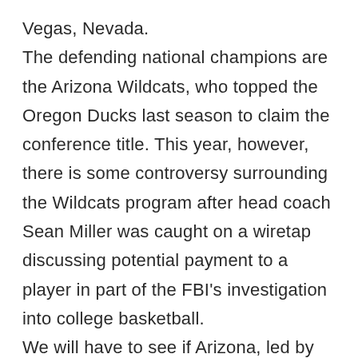Vegas, Nevada. The defending national champions are the Arizona Wildcats, who topped the Oregon Ducks last season to claim the conference title. This year, however, there is some controversy surrounding the Wildcats program after head coach Sean Miller was caught on a wiretap discussing potential payment to a player in part of the FBI's investigation into college basketball. We will have to see if Arizona, led by potential No. 1 pick Deandre Ayton, can put the distractions behind them and push for another